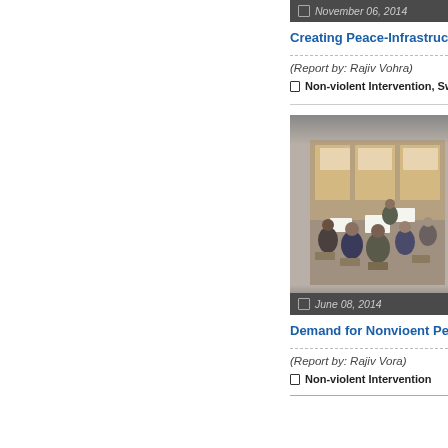November 06, 2014
Creating Peace-Infrastruct...
(Report by: Rajiv Vohra)
Non-violent Intervention, Sw...
[Figure (photo): People seated in a circle in a meeting room discussion, hotel/conference setting]
June 08, 2014
Demand for Nonvioent Pe...
(Report by: Rajiv Vora)
Non-violent Intervention